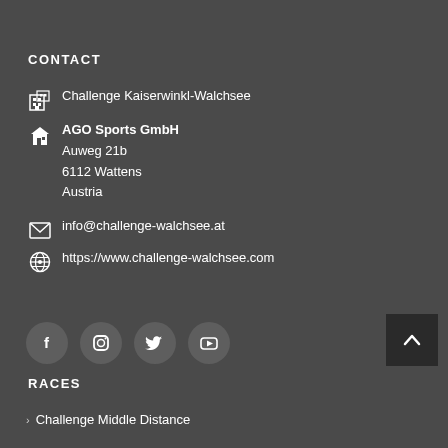CONTACT
Challenge Kaiserwinkl-Walchsee
AGO Sports GmbH
Auweg 21b
6112 Wattens
Austria
info@challenge-walchsee.at
https://www.challenge-walchsee.com
[Figure (infographic): Four social media icon circles: Facebook, Instagram, Twitter, YouTube]
RACES
Challenge Middle Distance